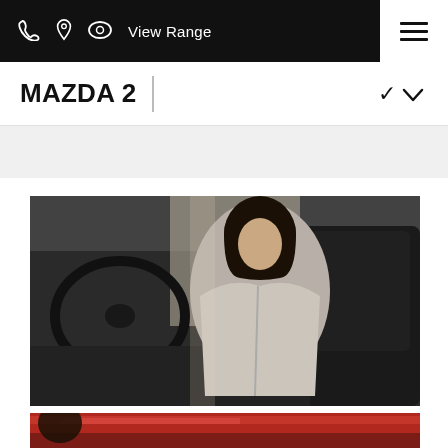View Range — navigation bar with phone, location, and view icons, plus hamburger menu
MAZDA 2
[Figure (photo): Woman with dark bob haircut wearing a grey coat, sitting inside a Mazda 2 car interior, viewed from outside through the open door. Car interior shows steering wheel and black leather seats.]
[Figure (photo): Partial view of a red Mazda car exterior, showing the hood and upper body panel.]